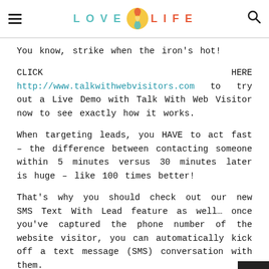LOVE LIFE
You know, strike when the iron’s hot!
CLICK HERE http://www.talkwithwebvisitors.com to try out a Live Demo with Talk With Web Visitor now to see exactly how it works.
When targeting leads, you HAVE to act fast – the difference between contacting someone within 5 minutes versus 30 minutes later is huge – like 100 times better!
That’s why you should check out our new SMS Text With Lead feature as well… once you’ve captured the phone number of the website visitor, you can automatically kick off a text message (SMS) conversation with them.